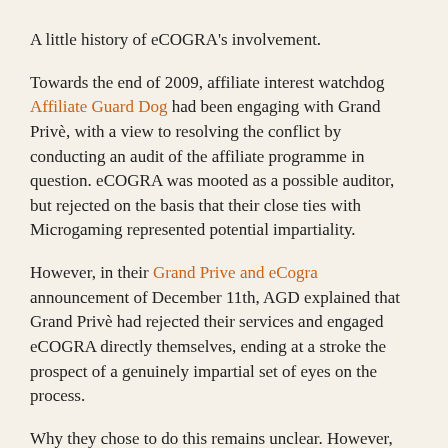A little history of eCOGRA's involvement.
Towards the end of 2009, affiliate interest watchdog Affiliate Guard Dog had been engaging with Grand Privè, with a view to resolving the conflict by conducting an audit of the affiliate programme in question. eCOGRA was mooted as a possible auditor, but rejected on the basis that their close ties with Microgaming represented potential impartiality.
However, in their Grand Prive and eCogra announcement of December 11th, AGD explained that Grand Privè had rejected their services and engaged eCOGRA directly themselves, ending at a stroke the prospect of a genuinely impartial set of eyes on the process.
Why they chose to do this remains unclear. However, assuming it wasn't based on a desire to keep any and all data concealed from the view of anyone outside the immediate Microgaming family, it was a very strange decision, as to let the AGD team in would have ended any possible suggestion of lack of impartiality of the investigation.